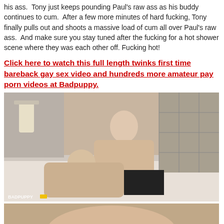his ass.  Tony just keeps pounding Paul's raw ass as his buddy continues to cum.  After a few more minutes of hard fucking, Tony finally pulls out and shoots a massive load of cum all over Paul's raw ass.  And make sure you stay tuned after the fucking for a hot shower scene where they was each other off. Fucking hot!
Click here to watch this full length twinks first time bareback gay sex video and hundreds more amateur pay porn videos at Badpuppy.
[Figure (photo): Photo of two men on a white couch in a sexual encounter, with a BADPUPPY watermark in the lower left corner.]
[Figure (photo): Partial photo showing the top of a person's head, cropped at the bottom of the page.]